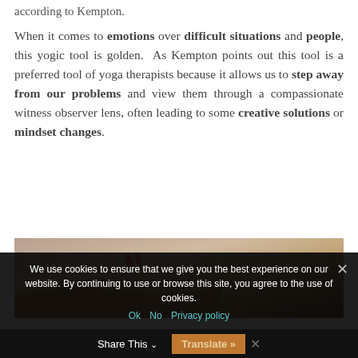according to Kempton.
When it comes to emotions over difficult situations and people, this yogic tool is golden. As Kempton points out this tool is a preferred tool of yoga therapists because it allows us to step away from our problems and view them through a compassionate witness observer lens, often leading to some creative solutions or mindset changes.
[Figure (photo): Partial photograph showing a person's arm/hand, likely in a yoga or meditative pose, with warm muted tones]
We use cookies to ensure that we give you the best experience on our website. By continuing to use or browse this site, you agree to the use of cookies.
Ok  No  Privacy policy
Share This
Translate »